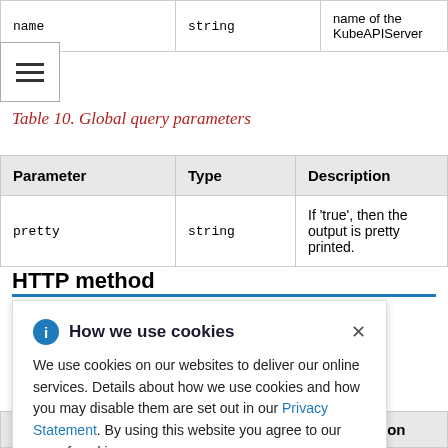| name | string | name of the KubeAPIServer |
| --- | --- | --- |
Table 10. Global query parameters
| Parameter | Type | Description |
| --- | --- | --- |
| pretty | string | If 'true', then the output is pretty printed. |
HTTP method
[Figure (other): Cookie consent popup overlay with info icon, title 'How we use cookies', close button, body text about cookie usage and Privacy Statement link]
| Parameter | Type | Description |
| --- | --- | --- |